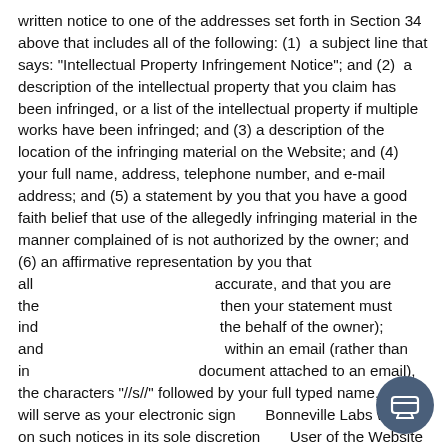written notice to one of the addresses set forth in Section 34 above that includes all of the following: (1) a subject line that says: "Intellectual Property Infringement Notice"; and (2) a description of the intellectual property that you claim has been infringed, or a list of the intellectual property if multiple works have been infringed; and (3) a description of the location of the infringing material on the Website; and (4) your full name, address, telephone number, and e-mail address; and (5) a statement by you that you have a good faith belief that use of the allegedly infringing material in the manner complained of is not authorized by the owner; and (6) an affirmative representation by you that all accurate, and that you are the then your statement must ind the behalf of the owner); and within an email (rather than in document attached to an email), the characters "//s//" followed by your full typed name, which will serve as your electronic sign Bonneville Labs will act on such notices in its sole discretion User of the Website that fails to respond satisfactorily to Bonneville
[Figure (screenshot): Chat popup overlay from Bonneville Labs with BV badge logo, close X button, and message: 'Hi there! Have any questions about Bonneville Labs? I'm happy to help.' with a dark circular chat button in bottom-right corner.]